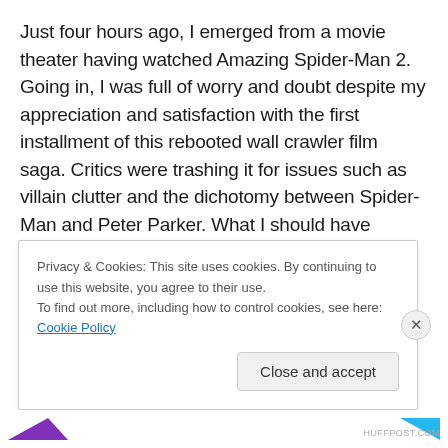Just four hours ago, I emerged from a movie theater having watched Amazing Spider-Man 2. Going in, I was full of worry and doubt despite my appreciation and satisfaction with the first installment of this rebooted wall crawler film saga. Critics were trashing it for issues such as villain clutter and the dichotomy between Spider-Man and Peter Parker. What I should have realized then, and do now having watched the film firsthand, is that these complaints were mostly either unfounded or the critics just don't seem to fully grasp the history and essence of
Privacy & Cookies: This site uses cookies. By continuing to use this website, you agree to their use.
To find out more, including how to control cookies, see here: Cookie Policy
Close and accept